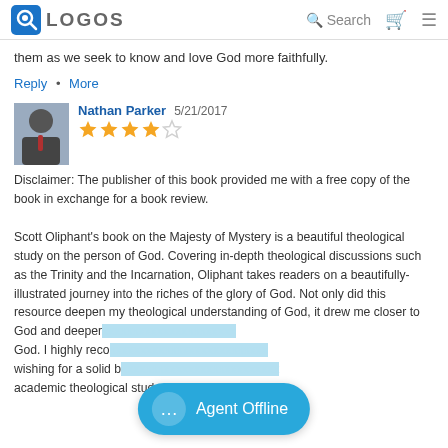LOGOS — Search
them as we seek to know and love God more faithfully.
Reply • More
Nathan Parker  5/21/2017
★★★★☆
Disclaimer: The publisher of this book provided me with a free copy of the book in exchange for a book review.

Scott Oliphant's book on the Majesty of Mystery is a beautiful theological study on the person of God. Covering in-depth theological discussions such as the Trinity and the Incarnation, Oliphant takes readers on a beautifully-illustrated journey into the riches of the glory of God. Not only did this resource deepen my theological understanding of God, it drew me closer to God and deeper... God. I highly reco... wishing for a solid b... academic theological study of God and a resource
Agent Offline